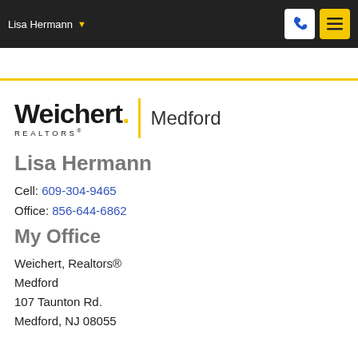Lisa Hermann
[Figure (screenshot): Weichert Realtors Medford logo with yellow vertical bar divider]
Lisa Hermann
Cell: 609-304-9465
Office: 856-644-6862
My Office
Weichert, Realtors® Medford
107 Taunton Rd.
Medford, NJ 08055